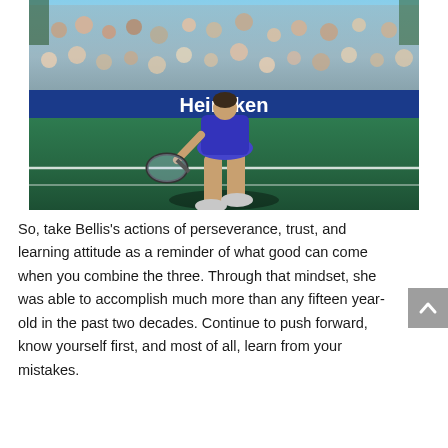[Figure (photo): A female tennis player in a blue outfit walking on a green hard court, holding a racket, with a crowd of spectators in the background and a blue Heineken advertisement barrier visible behind her.]
So, take Bellis's actions of perseverance, trust, and learning attitude as a reminder of what good can come when you combine the three. Through that mindset, she was able to accomplish much more than any fifteen year-old in the past two decades. Continue to push forward, know yourself first, and most of all, learn from your mistakes.